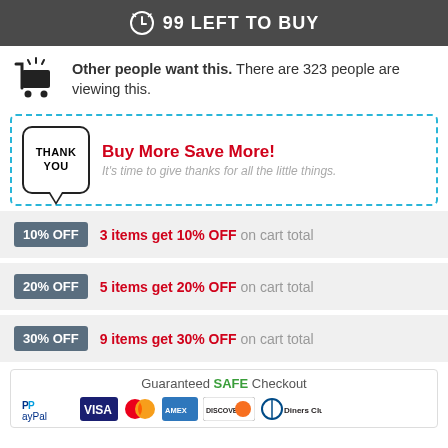99 LEFT TO BUY
Other people want this. There are 323 people are viewing this.
Buy More Save More! It's time to give thanks for all the little things.
10% OFF — 3 items get 10% OFF on cart total
20% OFF — 5 items get 20% OFF on cart total
30% OFF — 9 items get 30% OFF on cart total
Guaranteed SAFE Checkout
[Figure (infographic): Payment method logos: PayPal, VISA, Mastercard, American Express, Discover, Diners Club]